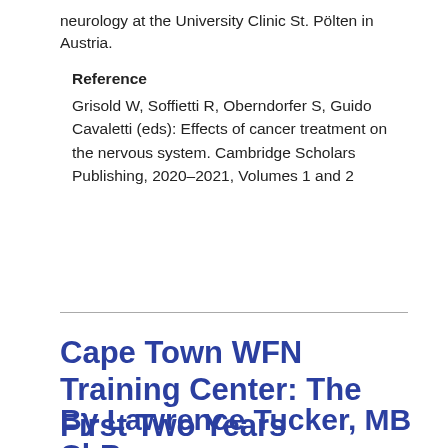neurology at the University Clinic St. Pölten in Austria.
Reference
Grisold W, Soffietti R, Oberndorfer S, Guido Cavaletti (eds): Effects of cancer treatment on the nervous system. Cambridge Scholars Publishing, 2020–2021, Volumes 1 and 2
Cape Town WFN Training Center: The First Two Years
By Lawrence Tucker, MB ChB